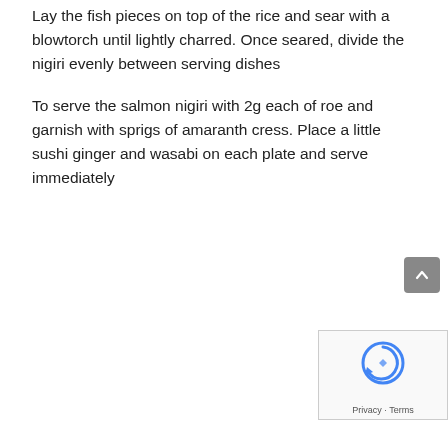Lay the fish pieces on top of the rice and sear with a blowtorch until lightly charred. Once seared, divide the nigiri evenly between serving dishes
To serve the salmon nigiri with 2g each of roe and garnish with sprigs of amaranth cress. Place a little sushi ginger and wasabi on each plate and serve immediately